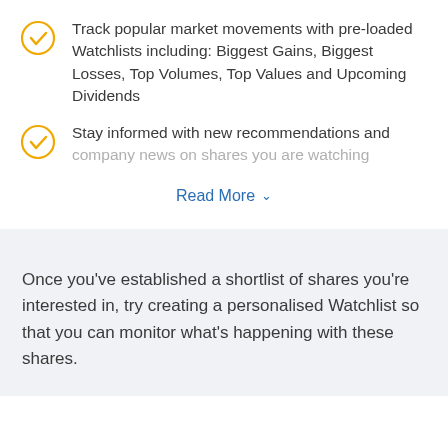Track popular market movements with pre-loaded Watchlists including: Biggest Gains, Biggest Losses, Top Volumes, Top Values and Upcoming Dividends
Stay informed with new recommendations and company news on shares you are watching
Read More ∨
Once you've established a shortlist of shares you're interested in, try creating a personalised Watchlist so that you can monitor what's happening with these shares.